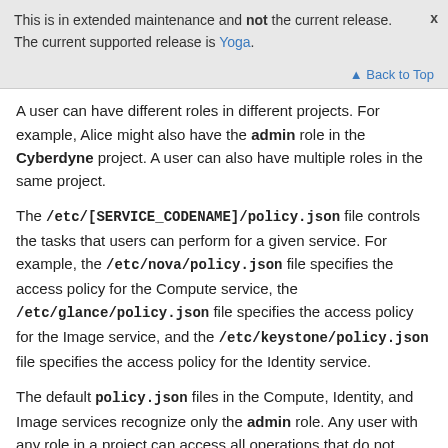This is in extended maintenance and not the current release. The current supported release is Yoga.
↑ Back to Top
A user can have different roles in different projects. For example, Alice might also have the admin role in the Cyberdyne project. A user can also have multiple roles in the same project.
The /etc/[SERVICE_CODENAME]/policy.json file controls the tasks that users can perform for a given service. For example, the /etc/nova/policy.json file specifies the access policy for the Compute service, the /etc/glance/policy.json file specifies the access policy for the Image service, and the /etc/keystone/policy.json file specifies the access policy for the Identity service.
The default policy.json files in the Compute, Identity, and Image services recognize only the admin role. Any user with any role in a project can access all operations that do not require the admin role.
To restrict users from performing operations in, for example, the Compute service, you must create a role in the Identity service and